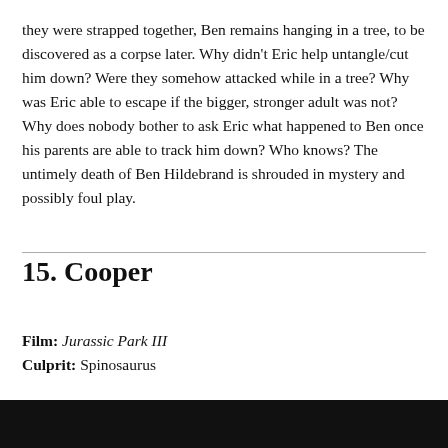they were strapped together, Ben remains hanging in a tree, to be discovered as a corpse later. Why didn't Eric help untangle/cut him down? Were they somehow attacked while in a tree? Why was Eric able to escape if the bigger, stronger adult was not? Why does nobody bother to ask Eric what happened to Ben once his parents are able to track him down? Who knows? The untimely death of Ben Hildebrand is shrouded in mystery and possibly foul play.
15. Cooper
Film: Jurassic Park III
Culprit: Spinosaurus
[Figure (photo): Black bar at bottom of page]